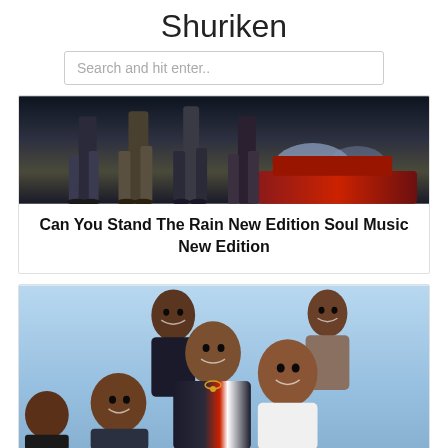Shuriken
Search and hit enter..
[Figure (photo): Group of people standing, lower bodies visible, with a car with bright headlights in the background, dark moody lighting]
Can You Stand The Rain New Edition Soul Music New Edition
[Figure (photo): Group photo of young men (New Edition) smiling, against a light blue background, wearing 1980s style clothing]